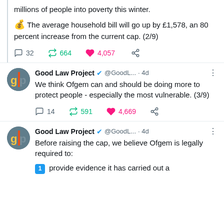millions of people into poverty this winter.
💰 The average household bill will go up by £1,578, an 80 percent increase from the current cap. (2/9)
Comments: 32  Retweets: 664  Likes: 4,057
Good Law Project @GoodL... · 4d  We think Ofgem can and should be doing more to protect people - especially the most vulnerable. (3/9)
Comments: 14  Retweets: 591  Likes: 4,669
Good Law Project @GoodL... · 4d  Before raising the cap, we believe Ofgem is legally required to:  1 provide evidence it has carried out a